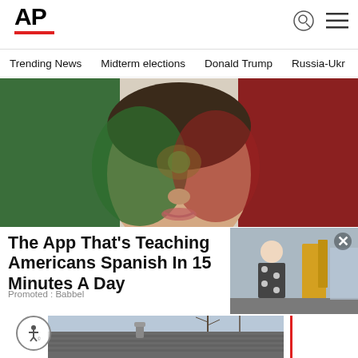[Figure (logo): AP (Associated Press) logo in bold black text with red underline bar]
[Figure (other): Search icon circle and hamburger menu icon in header top right]
Trending News   Midterm elections   Donald Trump   Russia-Ukr
[Figure (photo): Person with Mexican flag colors painted on their face, alongside a textured Mexican flag backdrop with green, white, and red sections]
The App That's Teaching Americans Spanish In 15 Minutes A Day
Promoted : Babbel
[Figure (photo): Small overlay image on the right showing a person in a polka dot outfit near yellow construction equipment on a street, with a close (X) button]
[Figure (photo): Bottom partial image showing a rooftop with shingles and a small exhaust pipe against a sky with bare trees]